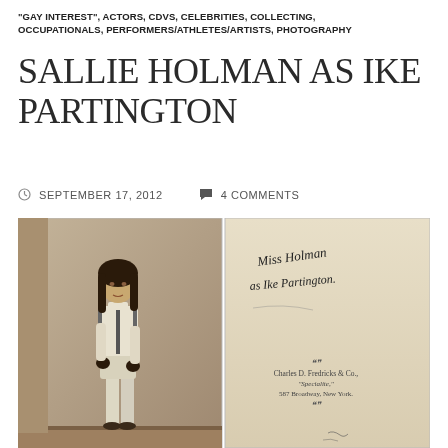"GAY INTEREST", ACTORS, CDVS, CELEBRITIES, COLLECTING, OCCUPATIONALS, PERFORMERS/ATHLETES/ARTISTS, PHOTOGRAPHY
SALLIE HOLMAN AS IKE PARTINGTON
SEPTEMBER 17, 2012   4 COMMENTS
[Figure (photo): Two CDV photographs side by side. Left: sepia portrait of Sallie Holman dressed as Ike Partington in boy's costume with long hair, standing pose. Right: back of the CDV card with handwritten inscription 'Miss Holman as Ike Partington.' and printed text 'Charles D. Fredricks & Co., "Specialite," 587 Broadway, New York.']